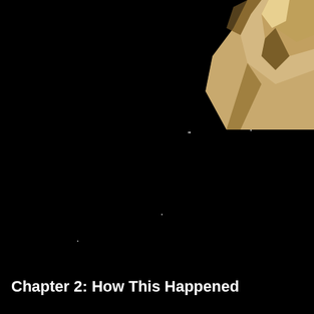[Figure (photo): Dark space/night sky photograph with a rocky surface visible in the upper right corner and a few faint star-like points of light scattered across the black background.]
Chapter 2: How This Happened